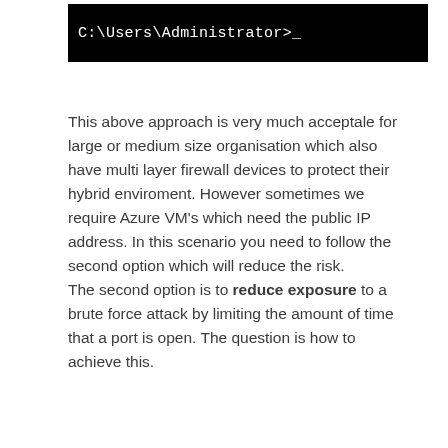[Figure (screenshot): Black terminal/command prompt window showing 'C:\Users\Administrator>_']
This above approach is very much acceptale for large or medium size organisation which also have multi layer firewall devices to protect their hybrid enviroment. However sometimes we require Azure VM's which need the public IP address. In this scenario you need to follow the second option which will reduce the risk.
The second option is to reduce exposure to a brute force attack by limiting the amount of time that a port is open. The question is how to achieve this.